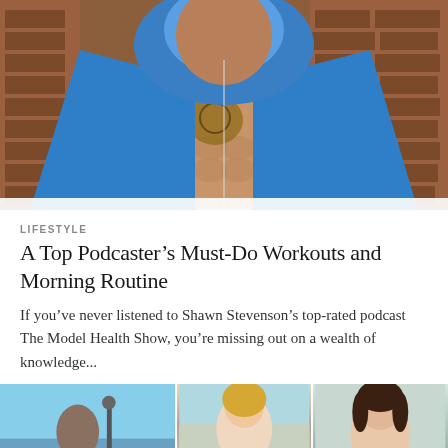[Figure (photo): A muscular man wearing an open blue hoodie with the hood up, showing a chest tattoo, standing against a brick wall background.]
LIFESTYLE
A Top Podcaster’s Must-Do Workouts and Morning Routine
If you’ve never listened to Shawn Stevenson’s top-rated podcast The Model Health Show, you’re missing out on a wealth of knowledge...
[Figure (photo): Three thumbnail images at the bottom: left shows a man against a blue sky with a lamp post; middle shows a blonde woman looking concerned; right shows a dark-haired woman in a thoughtful pose.]